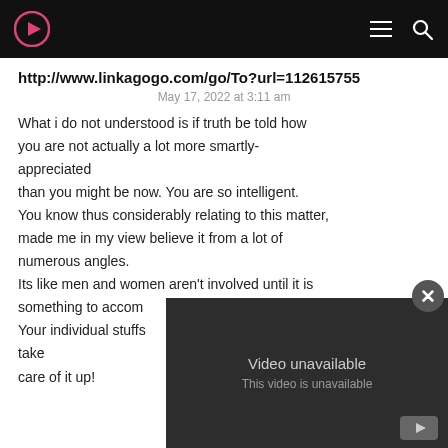header with play icon, hamburger menu, search icon
http://www.linkagogo.com/go/To?url=112615755
May 17, 2022 at 3:11 am
What i do not understood is if truth be told how you are not actually a lot more smartly-appreciated than you might be now. You are so intelligent. You know thus considerably relating to this matter, made me in my view believe it from a lot of numerous angles. Its like men and women aren't involved until it is something to accomplish Your individual stuffs take care of it up!
[Figure (screenshot): Video unavailable overlay with close button and YouTube logo]